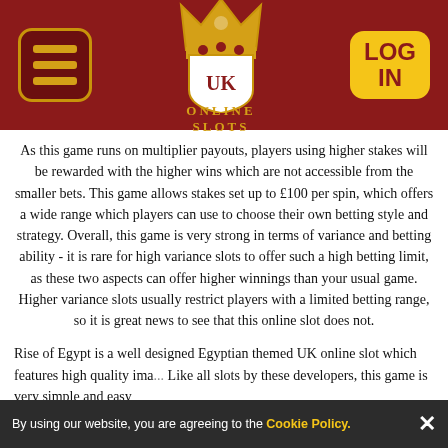UK Online Slots — hamburger menu, logo, LOG IN button
As this game runs on multiplier payouts, players using higher stakes will be rewarded with the higher wins which are not accessible from the smaller bets. This game allows stakes set up to £100 per spin, which offers a wide range which players can use to choose their own betting style and strategy. Overall, this game is very strong in terms of variance and betting ability - it is rare for high variance slots to offer such a high betting limit, as these two aspects can offer higher winnings than your usual game. Higher variance slots usually restrict players with a limited betting range, so it is great news to see that this online slot does not.
Rise of Egypt is a well designed Egyptian themed UK online slot which features high quality ima...Like all slots by these developers, this game is very simple and easy
By using our website, you are agreeing to the Cookie Policy. ✕